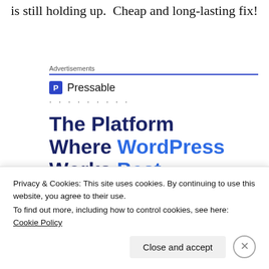is still holding up.  Cheap and long-lasting fix!
Advertisements
[Figure (screenshot): Pressable advertisement showing logo with 'P' icon and text 'Pressable', dotted separator, and large headline 'The Platform Where WordPress Works Best' with 'WordPress' and 'Best' in blue, and a partial blue button at bottom]
Privacy & Cookies: This site uses cookies. By continuing to use this website, you agree to their use.
To find out more, including how to control cookies, see here: Cookie Policy
Close and accept